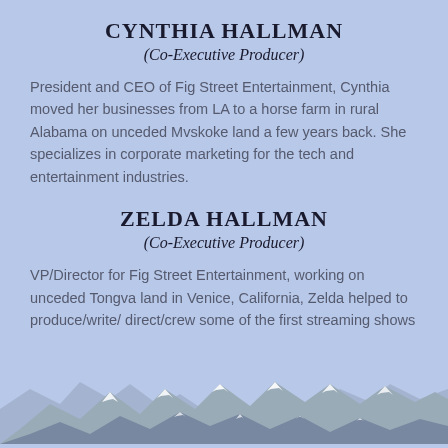CYNTHIA HALLMAN
(Co-Executive Producer)
President and CEO of Fig Street Entertainment, Cynthia moved her businesses from LA to a horse farm in rural Alabama on unceded Mvskoke land a few years back. She specializes in corporate marketing for the tech and entertainment industries.
ZELDA HALLMAN
(Co-Executive Producer)
VP/Director for Fig Street Entertainment, working on unceded Tongva land in Venice, California, Zelda helped to produce/write/ direct/crew some of the first streaming shows in independent television back in the early aughts.
[Figure (illustration): Snow-capped mountain range silhouette at the bottom of the page against a light blue sky background.]